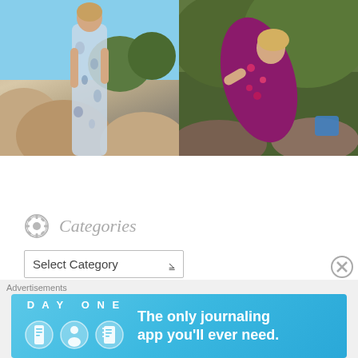[Figure (photo): Two fashion photos side by side: left shows a woman in a light blue floral maxi dress standing among rocks with blue sky; right shows a woman in a dark purple/pink patterned sleeveless dress in a forest setting.]
Categories
Select Category
Archives
Advertisements
[Figure (screenshot): DAY ONE app advertisement banner on light blue background with icons and text: 'The only journaling app you'll ever need.']